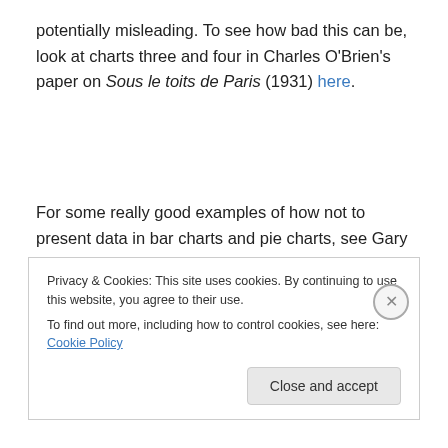potentially misleading. To see how bad this can be, look at charts three and four in Charles O'Brien's paper on Sous le toits de Paris (1931) here.
For some really good examples of how not to present data in bar charts and pie charts, see Gary Klass's Just Plain Data Analysis website here. This website is especially useful as it also gives tips and examples on  how to use
Privacy & Cookies: This site uses cookies. By continuing to use this website, you agree to their use.
To find out more, including how to control cookies, see here: Cookie Policy